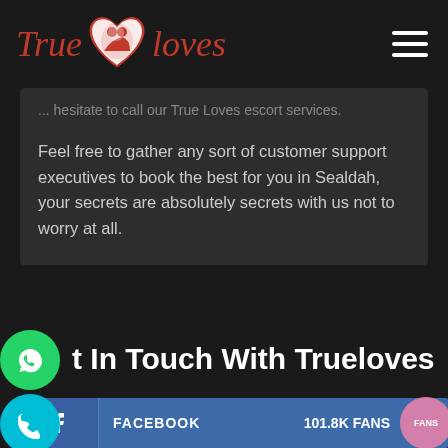[Figure (logo): True Loves logo with red heart and couple illustration, dark background header with hamburger menu icon]
... hesitate to call our True Loves escort services.
Feel free to gather any sort of customer support executives to book the best for you in Sealdah, your secrets are absolutely secrets with us not to worry at all.
Get In Touch With Trueloves
|  | FACEBOOK | 101.8K FANS |
| --- | --- | --- |